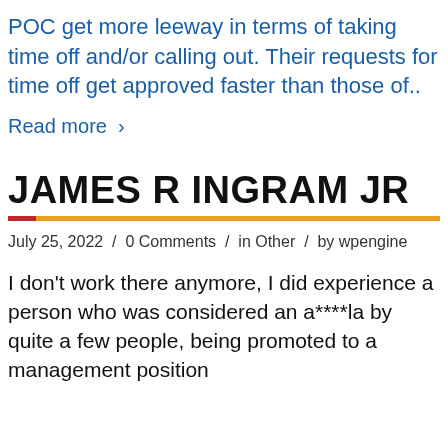POC get more leeway in terms of taking time off and/or calling out. Their requests for time off get approved faster than those of..
Read more ›
JAMES R INGRAM JR
July 25, 2022 / 0 Comments / in Other / by wpengine
I don't work there anymore, I did experience a person who was considered an a****la by quite a few people, being promoted to a management position